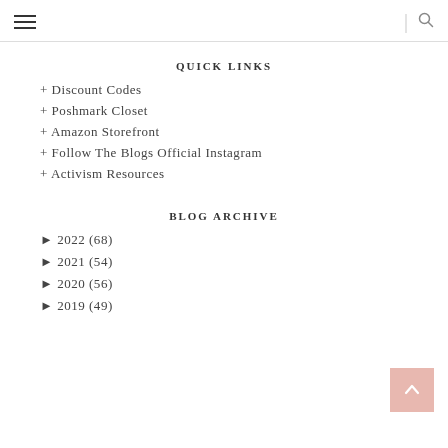≡ | 🔍
QUICK LINKS
+ Discount Codes
+ Poshmark Closet
+ Amazon Storefront
+ Follow The Blogs Official Instagram
+ Activism Resources
BLOG ARCHIVE
► 2022 (68)
► 2021 (54)
► 2020 (56)
► 2019 (49)